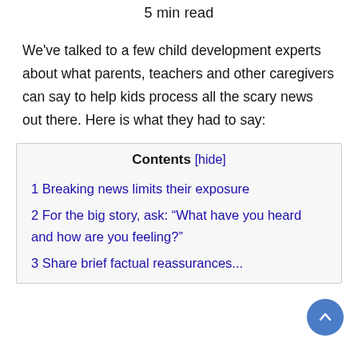5 min read
We've talked to a few child development experts about what parents, teachers and other caregivers can say to help kids process all the scary news out there. Here is what they had to say:
Contents [hide]
1 Breaking news limits their exposure
2 For the big story, ask: “What have you heard and how are you feeling?”
3 ...